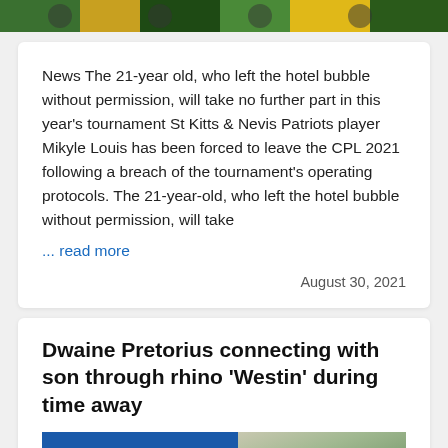[Figure (photo): Top strip photo of cricket players in green and yellow uniforms]
News The 21-year old, who left the hotel bubble without permission, will take no further part in this year's tournament St Kitts & Nevis Patriots player Mikyle Louis has been forced to leave the CPL 2021 following a breach of the tournament's operating protocols. The 21-year-old, who left the hotel bubble without permission, will take
... read more
August 30, 2021
Dwaine Pretorius connecting with son through rhino 'Westin' during time away
[Figure (photo): South Africa badge label and photo of Dwaine Pretorius outdoors]